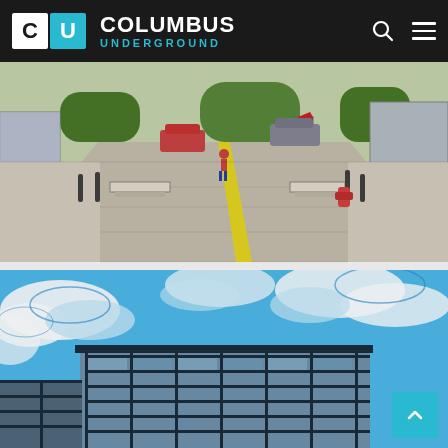Columbus Underground
[Figure (illustration): Stylized/filtered photo of an urban street intersection with cobblestones and a yellow center line, pedestrians and cars visible, comic-book filter applied]
[Figure (photo): Stylized/filtered photo looking up at a modern glass-and-steel multi-story building against a blue sky with white clouds, comic-book filter applied]